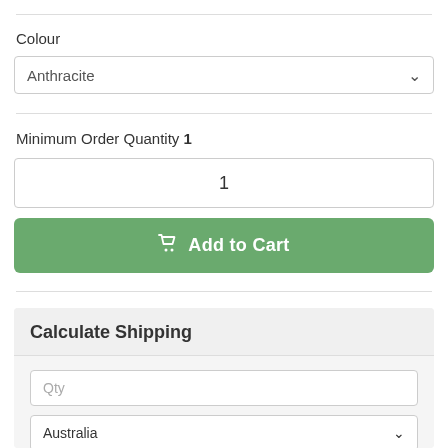Colour
Anthracite
Minimum Order Quantity 1
1
Add to Cart
Calculate Shipping
Qty
Australia
Post Code